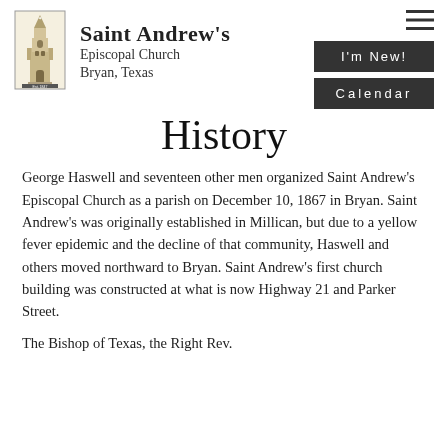[Figure (logo): Saint Andrew's Episcopal Church logo — illustration of a stone church tower with 'Est. 1847' below it]
Saint Andrew's Episcopal Church Bryan, Texas
History
George Haswell and seventeen other men organized Saint Andrew's Episcopal Church as a parish on December 10, 1867 in Bryan. Saint Andrew's was originally established in Millican, but due to a yellow fever epidemic and the decline of that community, Haswell and others moved northward to Bryan.  Saint Andrew's first church building was constructed at what is now Highway 21 and Parker Street.
The Bishop of Texas, the Right Rev.